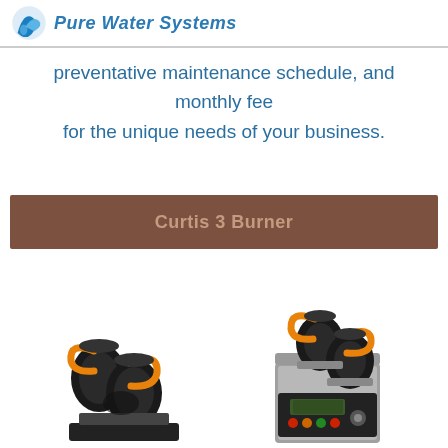Pure Water Systems
preventative maintenance schedule, and monthly fee for the unique needs of your business.
Curtis 3 Burner
[Figure (photo): Two product photos of Curtis 3 Burner coffee makers with orange-handled carafes, shown side by side on a white background.]